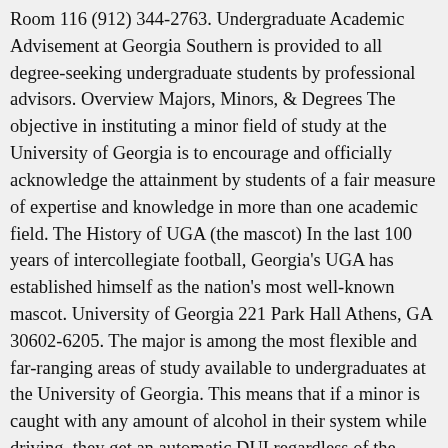Room 116 (912) 344-2763. Undergraduate Academic Advisement at Georgia Southern is provided to all degree-seeking undergraduate students by professional advisors. Overview Majors, Minors, & Degrees The objective in instituting a minor field of study at the University of Georgia is to encourage and officially acknowledge the attainment by students of a fair measure of expertise and knowledge in more than one academic field. The History of UGA (the mascot) In the last 100 years of intercollegiate football, Georgia's UGA has established himself as the nation's most well-known mascot. University of Georgia 221 Park Hall Athens, GA 30602-6205. The major is among the most flexible and far-ranging areas of study available to undergraduates at the University of Georgia. This means that if a minor is caught with any amount of alcohol in their system while driving, they get an automatic DUI regardless of the BAC limit of the state for adults 21 and over. Eligibility for Emancipation in Georgia. A minor must contain 15 semester hours of course work with at least 9 hours of upper division course work. Obtaining a minor allows students to specialize